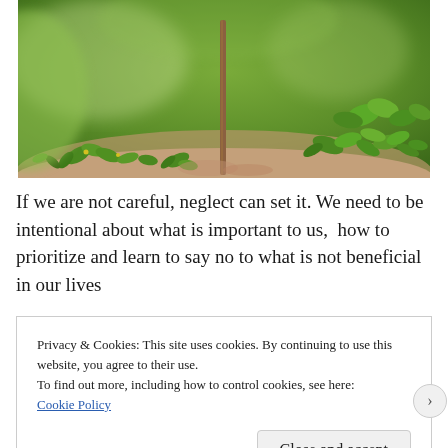[Figure (photo): Close-up macro photograph of small green plants and seedlings growing near a thin brown stem, with a blurred green background]
If we are not careful, neglect can set it. We need to be intentional about what is important to us,  how to prioritize and learn to say no to what is not beneficial in our lives
Privacy & Cookies: This site uses cookies. By continuing to use this website, you agree to their use.
To find out more, including how to control cookies, see here:
Cookie Policy
Close and accept